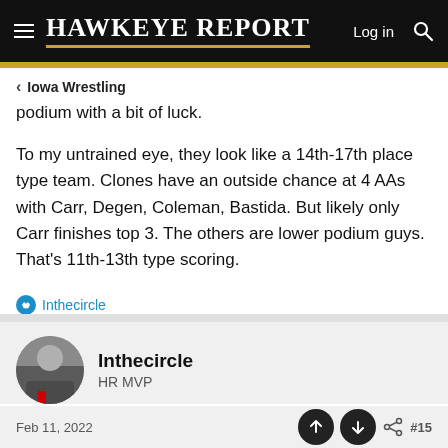Hawkeye Report   Log in
Iowa Wrestling
podium with a bit of luck.
To my untrained eye, they look like a 14th-17th place type team. Clones have an outside chance at 4 AAs with Carr, Degen, Coleman, Bastida. But likely only Carr finishes top 3. The others are lower podium guys. That’s 11th-13th type scoring.
Inthecircle
Inthecircle
HR MVP
Feb 11, 2022
#15